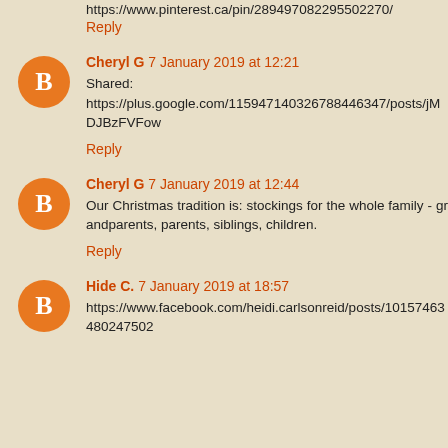https://www.pinterest.ca/pin/289497082295502270/
Reply
Cheryl G 7 January 2019 at 12:21
Shared: https://plus.google.com/115947140326788446347/posts/jMDJBzFVFow
Reply
Cheryl G 7 January 2019 at 12:44
Our Christmas tradition is: stockings for the whole family - grandparents, parents, siblings, children.
Reply
Hide C. 7 January 2019 at 18:57
https://www.facebook.com/heidi.carlsonreid/posts/10157463480247502